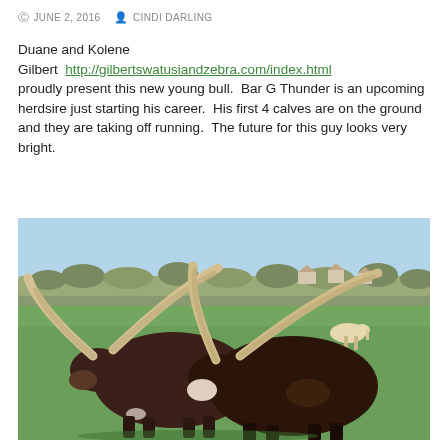JUNE 2, 2016   CINDI DARLING
Duane and Kolene Gilbert  http://gilbertswatusiandzebra.com/index.html proudly present this new young bull.  Bar G Thunder is an upcoming herdsire just starting his career.  His first 4 calves are on the ground and they are taking off running.  The future for this guy looks very bright.
[Figure (photo): Two large Watusi cattle with very long horns standing in a green pasture. Background shows bare trees, houses on a hill, and a clear blue sky. Another light-colored animal is visible in the background.]